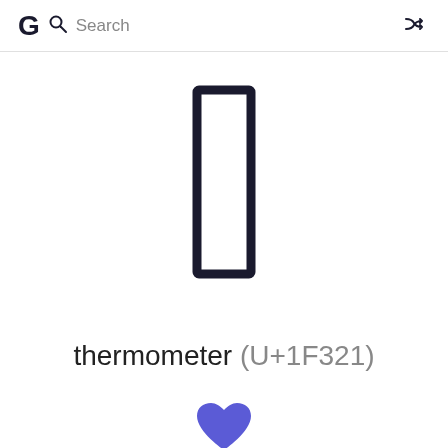G  Search
[Figure (illustration): Thermometer emoji rendered as a dark navy blue outlined rectangle (totem/pillar shape) on white background — the glyph for U+1F321 thermometer showing as a fallback box character]
thermometer (U+1F321)
[Figure (illustration): Blue/indigo heart icon at bottom center of page]